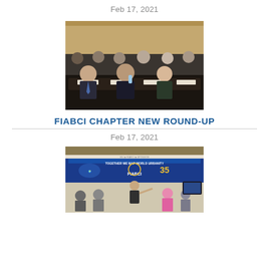Feb 17, 2021
[Figure (photo): Conference attendees seated at a conference table, listening attentively. Several people in formal attire are seated in rows.]
FIABCI CHAPTER NEW ROUND-UP
Feb 17, 2021
[Figure (photo): FIABCI event booth with a banner reading 'TOGETHER WE MAP WORLD URBANITY' and a presenter speaking to an audience. The FIABCI logo is visible.]